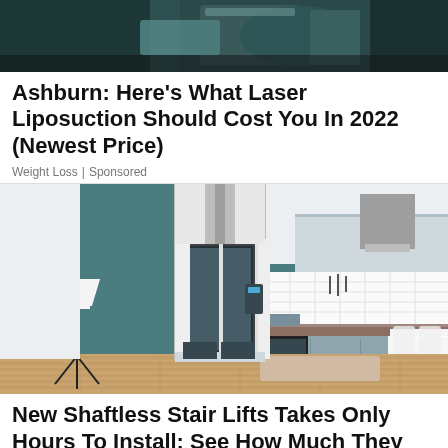[Figure (photo): Top portion of an image, possibly showing medical/laser equipment with dark teal and metallic tones, partially cropped]
Ashburn: Here's What Laser Liposuction Should Cost You In 2022 (Newest Price)
Weight Loss | Sponsored
[Figure (photo): A home elevator / shaftless stair lift installed in a modern kitchen with teal walls, wood floors, grey cabinets, and a white dining table with chairs]
New Shaftless Stair Lifts Takes Only Hours To Install: See How Much They Cost